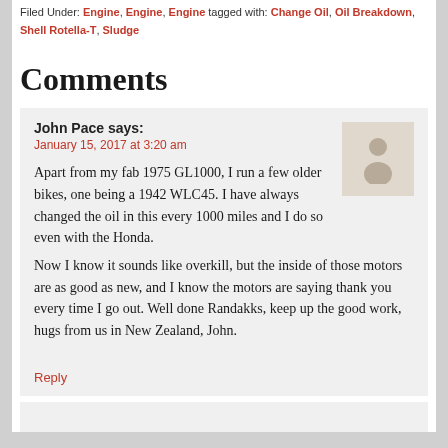Filed Under: Engine, Engine, Engine tagged with: Change Oil, Oil Breakdown, Shell Rotella-T, Sludge
Comments
John Pace says:
January 15, 2017 at 3:20 am
Apart from my fab 1975 GL1000, I run a few older bikes, one being a 1942 WLC45. I have always changed the oil in this every 1000 miles and I do so even with the Honda. Now I know it sounds like overkill, but the inside of those motors are as good as new, and I know the motors are saying thank you every time I go out. Well done Randakks, keep up the good work, hugs from us in New Zealand, John.
Reply